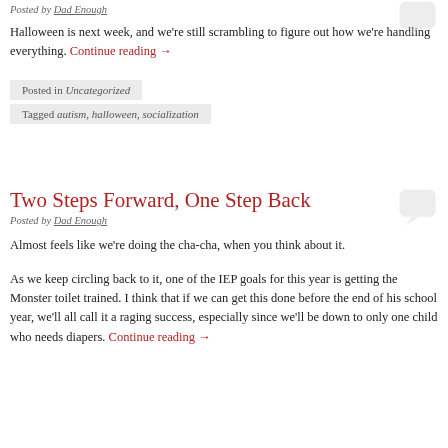Posted by Dad Enough
Halloween is next week, and we're still scrambling to figure out how we're handling everything. Continue reading →
Posted in Uncategorized
Tagged autism, halloween, socialization
Two Steps Forward, One Step Back
Posted by Dad Enough
Almost feels like we're doing the cha-cha, when you think about it.
As we keep circling back to it, one of the IEP goals for this year is getting the Monster toilet trained.  I think that if we can get this done before the end of his school year, we'll all call it a raging success, especially since we'll be down to only one child who needs diapers. Continue reading →